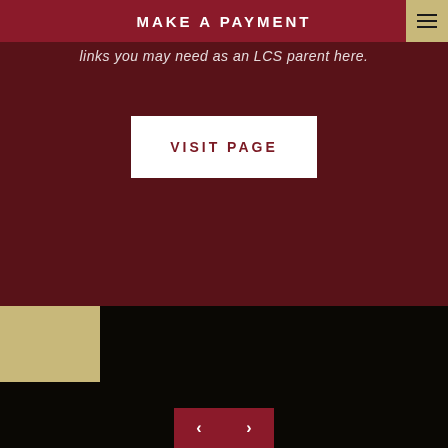MAKE A PAYMENT
links you may need as an LCS parent here.
VISIT PAGE
[Figure (other): Dark red background section with partial text and white Visit Page button, followed by dark bottom section with gold block and navigation arrows]